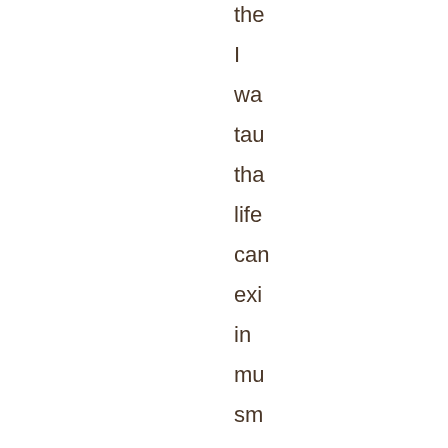the
I
wa
tau
tha
life
can
exi
in
mu
sm
spa
in
the
ne:
two
pla
l